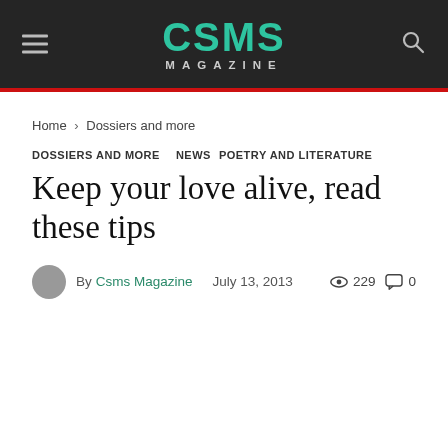CSMS MAGAZINE
Home › Dossiers and more
DOSSIERS AND MORE  NEWS  POETRY AND LITERATURE
Keep your love alive, read these tips
By Csms Magazine  July 13, 2013  229  0